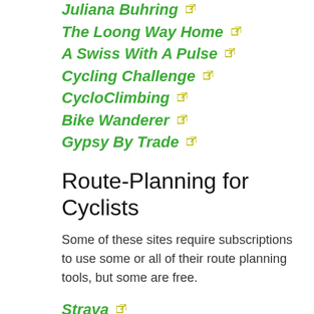Juliana Buhring
The Loong Way Home
A Swiss With A Pulse
Cycling Challenge
CycloClimbing
Bike Wanderer
Gypsy By Trade
Route-Planning for Cyclists
Some of these sites require subscriptions to use some or all of their route planning tools, but some are free.
Strava
Strava Heat map
Komoot
mapmyride
Ride With GPS